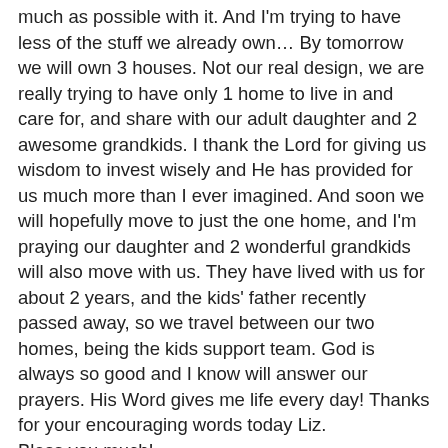much as possible with it. And I'm trying to have less of the stuff we already own… By tomorrow we will own 3 houses. Not our real design, we are really trying to have only 1 home to live in and care for, and share with our adult daughter and 2 awesome grandkids. I thank the Lord for giving us wisdom to invest wisely and He has provided for us much more than I ever imagined. And soon we will hopefully move to just the one home, and I'm praying our daughter and 2 wonderful grandkids will also move with us. They have lived with us for about 2 years, and the kids' father recently passed away, so we travel between our two homes, being the kids support team. God is always so good and I know will answer our prayers. His Word gives me life every day! Thanks for your encouraging words today Liz.
Bless you much!
Susan